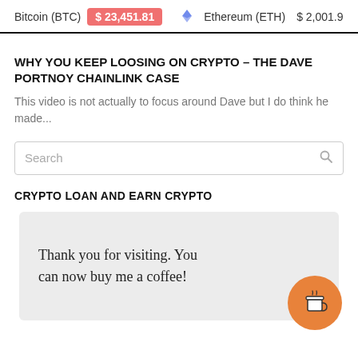Bitcoin (BTC) $23,451.81  Ethereum (ETH) $2,001.9
WHY YOU KEEP LOOSING ON CRYPTO – THE DAVE PORTNOY CHAINLINK CASE
This video is not actually to focus around Dave but I do think he made...
Search
CRYPTO LOAN AND EARN CRYPTO
Thank you for visiting. You can now buy me a coffee!